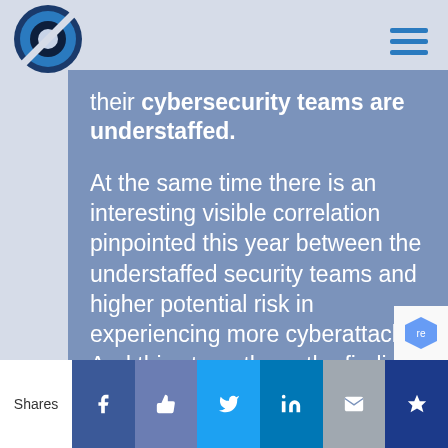[Figure (logo): Circular logo with blue and dark tones, resembling a globe with a stylized slash]
[Figure (other): Hamburger menu icon with three horizontal teal/blue lines]
their cybersecurity teams are understaffed.
At the same time there is an interesting visible correlation pinpointed this year between the understaffed security teams and higher potential risk in experiencing more cyberattacks. And this strengthens the finding
Shares | Facebook | Like | Twitter | LinkedIn | Email | Bookmark